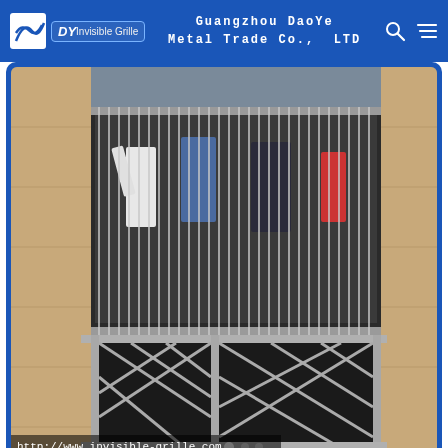Guangzhou DaoYe Metal Trade Co., LTD
[Figure (photo): Photo of an invisible safety grill / balcony protection with stainless steel wire ropes on a window/balcony, showing vertical steel cables and decorative metal railing below. Website URL: http://www.invisible-grille.com]
Stainless Steel Wire
Invisible Safety Grill 7X7 Stainless Steel Wire Rope Windowns Protection